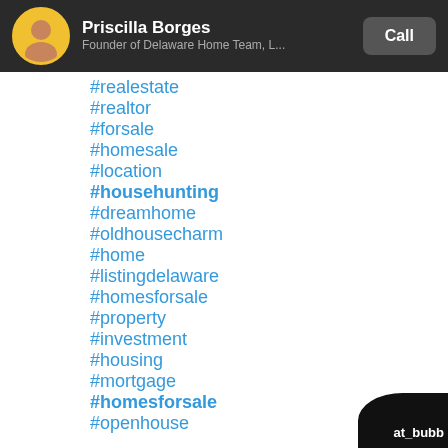Priscilla Borges — Founder of Delaware Home Team, L...
#realestate
#realtor
#forsale
#homesale
#location
#househunting
#dreamhome
#oldhousecharm
#home
#listingdelaware
#homesforsale
#property
#investment
#housing
#mortgage
#homesforsale
#openhouse